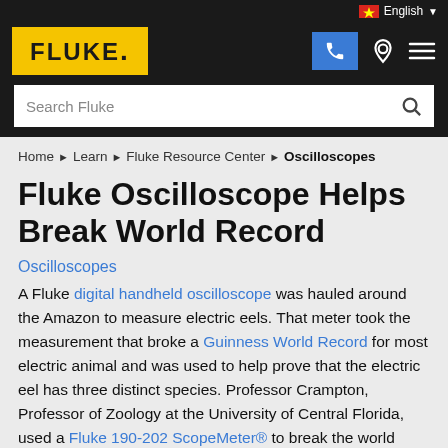[Figure (logo): Fluke logo on yellow background, navigation bar with phone icon, location icon, hamburger menu, language selector showing Vietnamese flag and English, and search bar]
Home ▶ Learn ▶ Fluke Resource Center ▶ Oscilloscopes
Fluke Oscilloscope Helps Break World Record
Oscilloscopes
A Fluke digital handheld oscilloscope was hauled around the Amazon to measure electric eels. That meter took the measurement that broke a Guinness World Record for most electric animal and was used to help prove that the electric eel has three distinct species. Professor Crampton, Professor of Zoology at the University of Central Florida, used a Fluke 190-202 ScopeMeter® to break the world